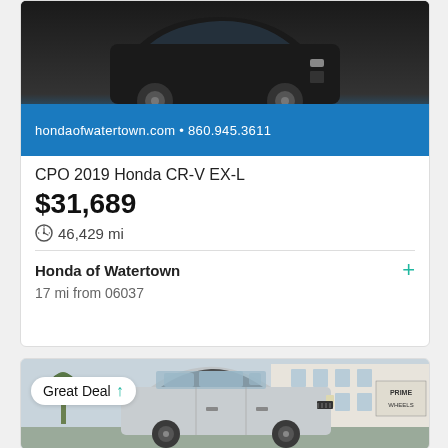[Figure (photo): Photo of a 2019 Honda CR-V EX-L (dark colored SUV) with Lorensen Auto Group branding and blue banner showing hondaofwatertown.com and 860.945.3611]
CPO 2019 Honda CR-V EX-L
$31,689
46,429 mi
Honda of Watertown
17 mi from 06037
[Figure (photo): Photo of a silver Jeep SUV parked in front of Prime Wheels dealership building, with a Great Deal badge overlay]